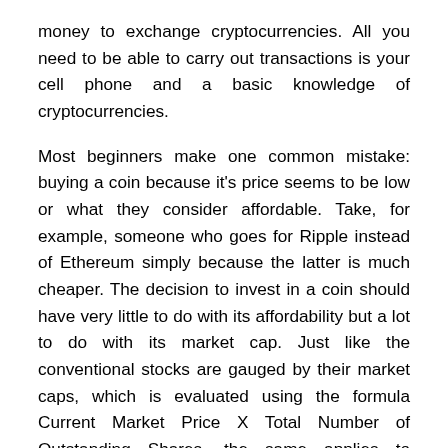money to exchange cryptocurrencies. All you need to be able to carry out transactions is your cell phone and a basic knowledge of cryptocurrencies.
Most beginners make one common mistake: buying a coin because it's price seems to be low or what they consider affordable. Take, for example, someone who goes for Ripple instead of Ethereum simply because the latter is much cheaper. The decision to invest in a coin should have very little to do with its affordability but a lot to do with its market cap. Just like the conventional stocks are gauged by their market caps, which is evaluated using the formula Current Market Price X Total Number of Outstanding Shares, the same applies to cryptocurrencies.
There are several reasons why Klarna (SOFORT) became one of the most popular choices in Europe when it comes to bitcoin purchasing. First, you do not need to register an account to be able to do bank transfers through the